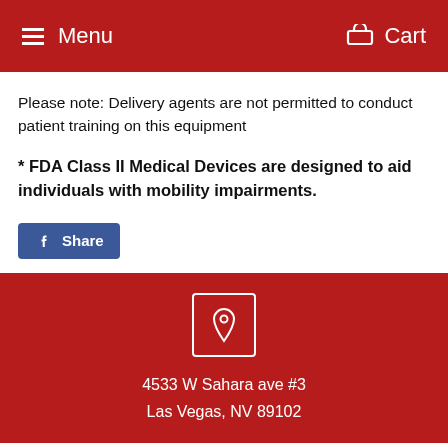Menu  Cart
Please note: Delivery agents are not permitted to conduct patient training on this equipment
* FDA Class II Medical Devices are designed to aid individuals with mobility impairments.
[Figure (other): Facebook Share button]
[Figure (other): Location pin icon in a square border]
4533 W Sahara ave #3
Las Vegas, NV 89102